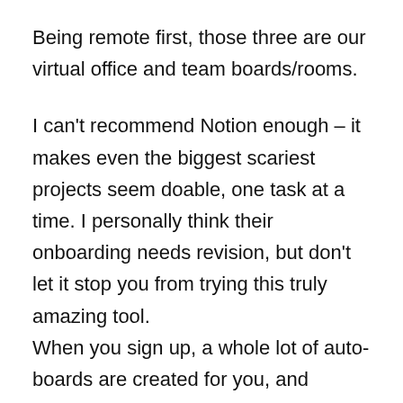Being remote first, those three are our virtual office and team boards/rooms.
I can't recommend Notion enough – it makes even the biggest scariest projects seem doable, one task at a time. I personally think their onboarding needs revision, but don't let it stop you from trying this truly amazing tool. When you sign up, a whole lot of auto-boards are created for you, and there's SO MUCH you can do, it's just… overwhelming. Took me a few months to try again, and the first thing I did was delete all of the auto-templates and start from scratch. I suggest every new user do the same because you